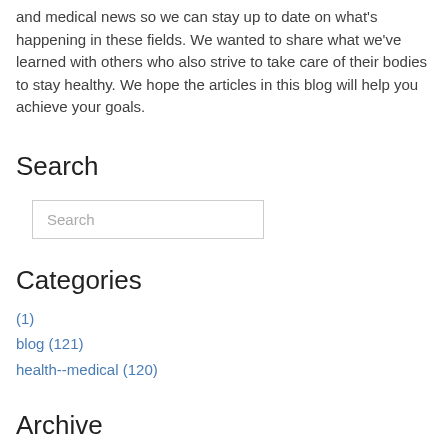and medical news so we can stay up to date on what's happening in these fields. We wanted to share what we've learned with others who also strive to take care of their bodies to stay healthy. We hope the articles in this blog will help you achieve your goals.
Search
Search
Categories
(1)
blog (121)
health--medical (120)
Archive
2020
2021